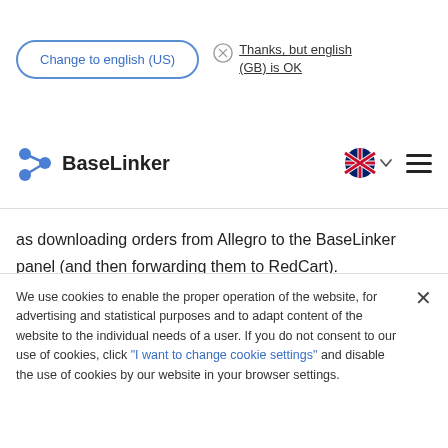Change to english (US) | Thanks, but english (GB) is OK
[Figure (logo): BaseLinker logo with blue graphic and text]
as downloading orders from Allegro to the BaseLinker panel (and then forwarding them to RedCart).
Decide where to handle orders from the marketplace and the store - whether in BaseLinker Manager or in the RedCart panel. Consider managing all your sales in BaseLinker system from the very beginning, because as
We use cookies to enable the proper operation of the website, for advertising and statistical purposes and to adapt content of the website to the individual needs of a user. If you do not consent to our use of cookies, click "I want to change cookie settings" and disable the use of cookies by our website in your browser settings.